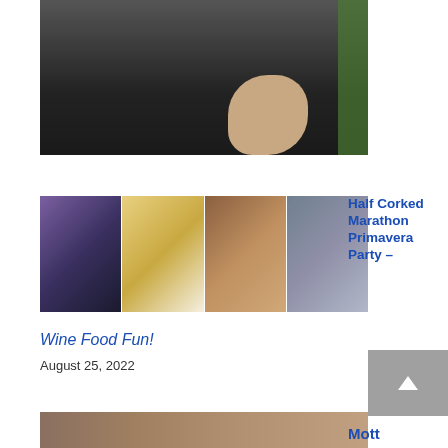[Figure (photo): Person in dark jacket holding hands together outdoors near green foliage]
[Figure (photo): Grid of four event photos: woman at outdoor event, food dish on plate, woman smiling with wine, group of women posing together]
Half Corked Marathon Primavera Party –
Wine Food Fun!
August 25, 2022
[Figure (photo): Partial bottom photo strip showing food]
Mott